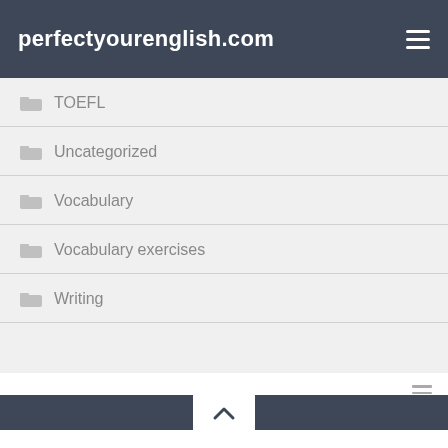perfectyourenglish.com
TOEFL
Uncategorized
Vocabulary
Vocabulary exercises
Writing